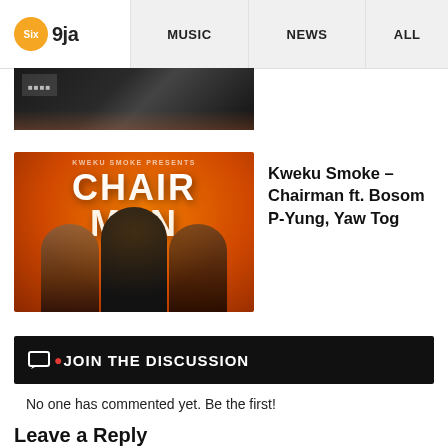Six 9ja | MUSIC | NEWS | ALL
[Figure (photo): Partial cropped image at the top, appears to be a dark nighttime scene]
[Figure (photo): Album artwork for Kweku Smoke – Chairman ft. Bosom P-Yung, Yaw Tog. Orange background with three people and bold text CHAIR MAN]
Kweku Smoke – Chairman ft. Bosom P-Yung, Yaw Tog
JOIN THE DISCUSSION
No one has commented yet. Be the first!
Leave a Reply